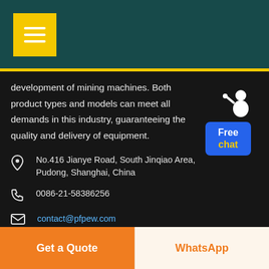Menu icon / navigation header
development of mining machines. Both product types and models can meet all demands in this industry, guaranteeing the quality and delivery of equipment.
No.416 Jianye Road, South Jinqiao Area, Pudong, Shanghai, China
0086-21-58386256
contact@pfpew.com
[Figure (infographic): Social media icons: Facebook, Twitter, Google+, Pinterest, YouTube in circular outlines]
Get a Quote | WhatsApp